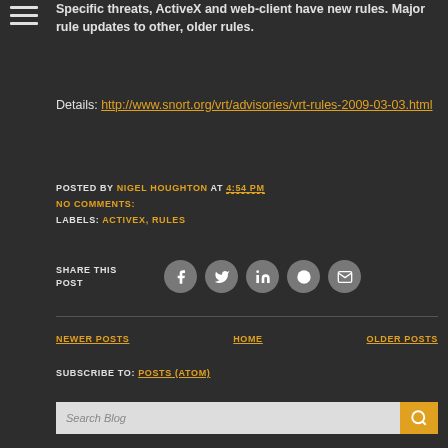Specific threats, ActiveX and web-client have new rules. Major rule updates to other, older rules.
Details: http://www.snort.org/vrt/advisories/vrt-rules-2009-03-03.html
POSTED BY NIGEL HOUGHTON AT 4:54 PM
NO COMMENTS:
LABELS: ACTIVEX, RULES
SHARE THIS POST
[Figure (infographic): Row of social share icon circles: Facebook, Twitter, LinkedIn, Reddit, Email]
NEWER POSTS   HOME   OLDER POSTS
SUBSCRIBE TO: POSTS (ATOM)